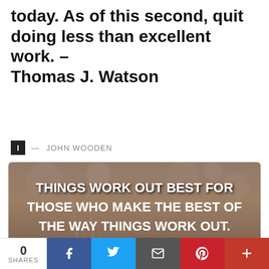today. As of this second, quit doing less than excellent work. – Thomas J. Watson
I — JOHN WOODEN
[Figure (photo): Nature/winter background photo with bold white text overlay reading: THINGS WORK OUT BEST FOR THOSE WHO MAKE THE BEST OF THE WAY THINGS WORK OUT.]
0 SHARES | Facebook | Twitter | Email | Pinterest | More